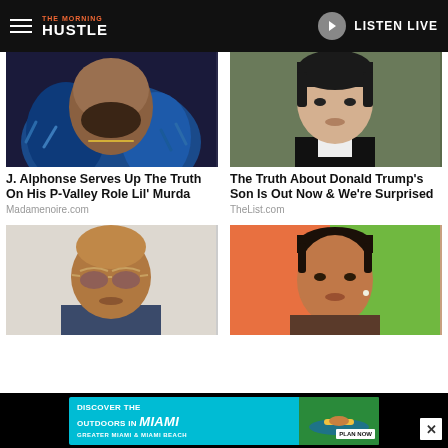The Morning Hustle — LISTEN LIVE
[Figure (photo): Close-up photo of man with beard wearing blue fur coat and chain necklace]
J. Alphonse Serves Up The Truth On His P-Valley Role Lil' Murda
Madamenoire.com
[Figure (photo): Close-up photo of young man in suit with dark hair]
The Truth About Donald Trump's Son Is Out Now & We're Surprised
TheList.com
[Figure (photo): Close-up photo of man with sunglasses and bald head]
[Figure (photo): Close-up photo of woman with hair pulled back wearing pearl earrings]
[Figure (photo): Advertisement: Discover The Outdoors In Miami — Greater Miami & Miami Beach — Plan Now]